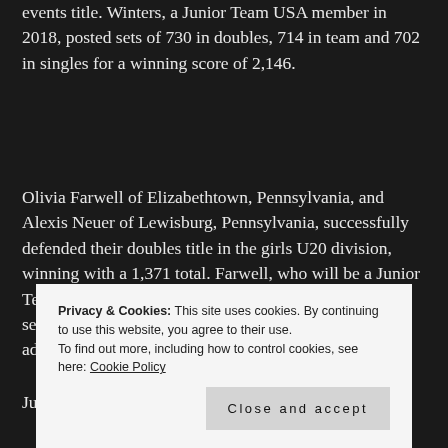events title. Winters, a Junior Team USA member in 2018, posted sets of 730 in doubles, 714 in team and 702 in singles for a winning score of 2,146.
Olivia Farwell of Elizabethtown, Pennsylvania, and Alexis Neuer of Lewisburg, Pennsylvania, successfully defended their doubles title in the girls U20 division, winning with a 1,371 total. Farwell, who will be a Junior Team USA member in 2019, led the way with a 750 series, while Neuer, who's on Junior Team USA 2018, added 621.
Junior Team USA in 2018, had games of 190 and 228 before
Privacy & Cookies: This site uses cookies. By continuing to use this website, you agree to their use.
To find out more, including how to control cookies, see here: Cookie Policy